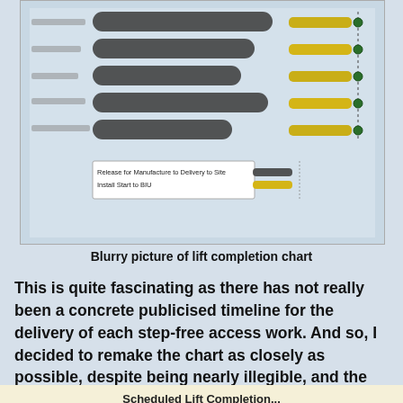[Figure (other): Blurry photograph of a Gantt-style lift completion chart showing dark horizontal bars (tasks) and yellow/gold milestone indicators connected with dotted lines on the right side, with a legend box at bottom left reading 'Release for Manufacture to Delivery to Site' and 'Install Start to BIU'.]
Blurry picture of lift completion chart
This is quite fascinating as there has not really been a concrete publicised timeline for the delivery of each step-free access work. And so, I decided to remake the chart as closely as possible, despite being nearly illegible, and the end result is:
Scheduled Lift Completion...